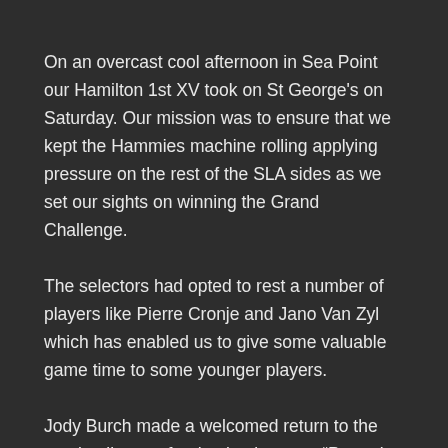On an overcast cool afternoon in Sea Point our Hamilton 1st XV took on St George's on Saturday. Our mission was to ensure that we kept the Hammies machine rolling applying pressure on the rest of the SLA sides as we set our sights on winning the Grand Challenge.
The selectors had opted to rest a number of players like Pierre Cronje and Jano Van Zyl which has enabled us to give some valuable game time to some younger players.
Jody Burch made a welcomed return to the starting lineup after having been on “Paternity Leave” It was he that set the tone from the outset with some of his trademark bullocking runs. We raced to a 14 -0 lead after 10 minutes as he created great momentum breaching the defense and then linking with the backs as we cut